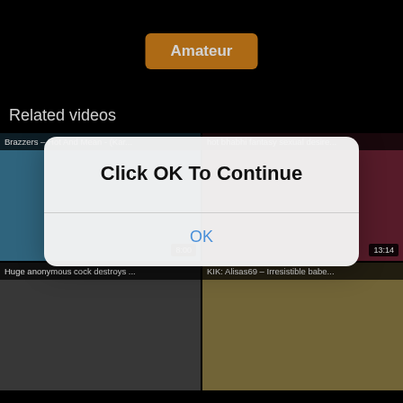Amateur
Related videos
[Figure (screenshot): Video thumbnail: Brazzers - Hot And Mean - (Kar... with duration 8:00]
[Figure (screenshot): Video thumbnail: hot bhabhi fantasy sexual desire... with duration 13:14]
[Figure (screenshot): Video thumbnail: Huge anonymous cock destroys ...]
[Figure (screenshot): Video thumbnail: KIK: Alisas69 - Irresistible babe...]
Click OK To Continue
OK